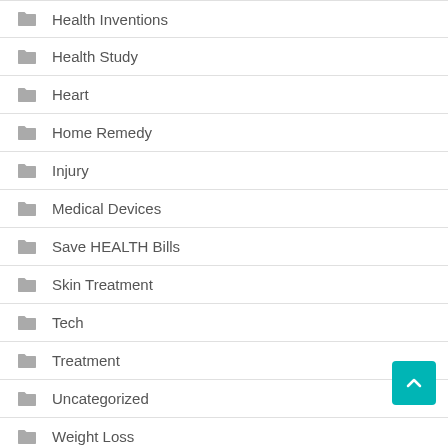Health Inventions
Health Study
Heart
Home Remedy
Injury
Medical Devices
Save HEALTH Bills
Skin Treatment
Tech
Treatment
Uncategorized
Weight Loss